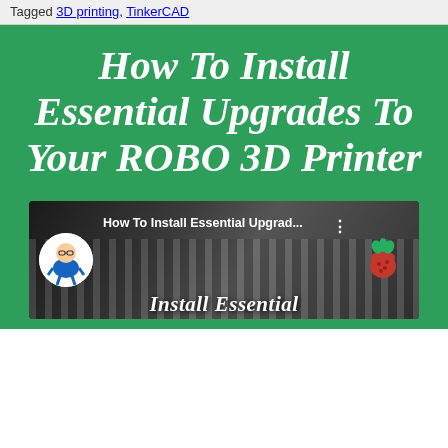Tagged 3D printing, TinkerCAD
How To Install Essential Upgrades To Your ROBO 3D Printer
[Figure (screenshot): YouTube video thumbnail showing 'How To Install Essential Upgrad...' with channel avatar (cartoon character with glasses), Raspberry Pi logo, and text overlay 'Install Essential' at the bottom on a dark striped background.]